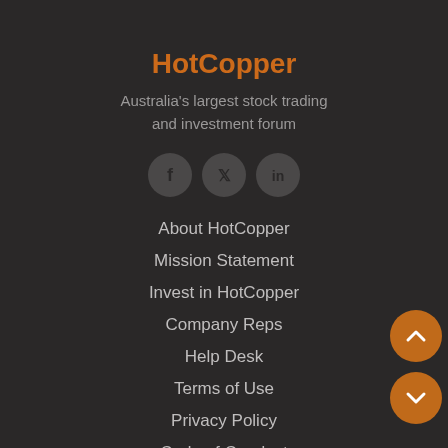HotCopper
Australia's largest stock trading and investment forum
[Figure (illustration): Three social media icon buttons: Facebook, Twitter, LinkedIn — circular dark grey buttons]
About HotCopper
Mission Statement
Invest in HotCopper
Company Reps
Help Desk
Terms of Use
Privacy Policy
Code of Conduct